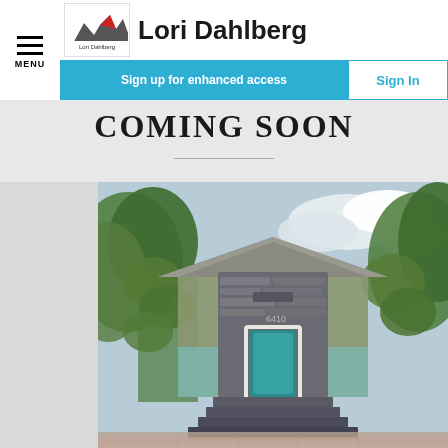Lori Dahlberg – Sign up for enhanced access | Sign In
COMING SOON
[Figure (photo): Exterior photo of a residential house with stone facade, teal front door, steps leading to entrance, surrounded by lush green ivy and trees, cloudy sky in background]